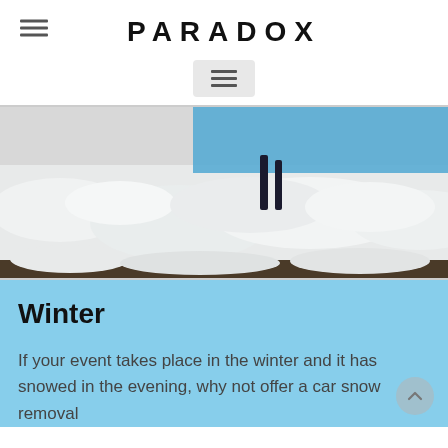PARADOX
[Figure (photo): Snow scene with blue plastic snow scraper/shovel partially visible, large pile of white snow with dark dirt/ground at the bottom edge]
Winter
If your event takes place in the winter and it has snowed in the evening, why not offer a car snow removal service?